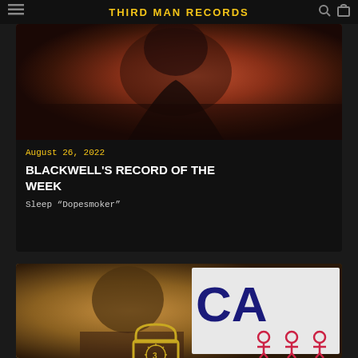THIRD MAN RECORDS
[Figure (photo): Close-up photo of a person with a dark/brown/red toned background, partially cropped]
August 26, 2022
BLACKWELL'S RECORD OF THE WEEK
Sleep “Dopesmoker”
[Figure (photo): Photo of a person with a white sign partially visible showing 'CA' in large navy blue letters, and cartoon figures in red at the bottom right, with a Third Man Records lock logo overlay]